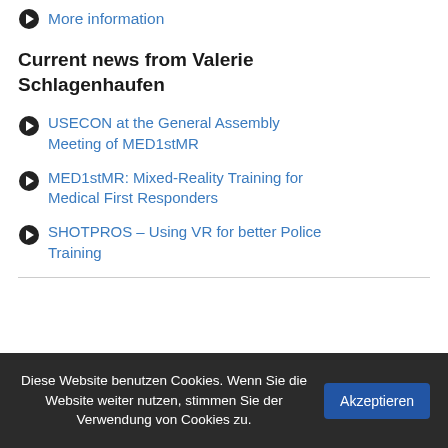More information
Current news from Valerie Schlagenhaufen
USECON at the General Assembly Meeting of MED1stMR
MED1stMR: Mixed-Reality Training for Medical First Responders
SHOTPROS – Using VR for better Police Training
Diese Website benutzen Cookies. Wenn Sie die Website weiter nutzen, stimmen Sie der Verwendung von Cookies zu.
Akzeptieren